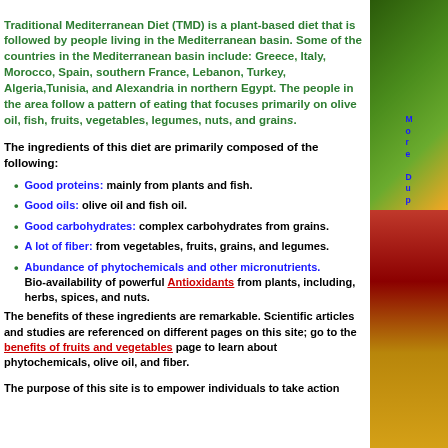Traditional Mediterranean Diet (TMD) is a plant-based diet that is followed by people living in the Mediterranean basin. Some of the countries in the Mediterranean basin include: Greece, Italy, Morocco, Spain, southern France, Lebanon, Turkey, Algeria,Tunisia, and Alexandria in northern Egypt. The people in the area follow a pattern of eating that focuses primarily on olive oil, fish, fruits, vegetables, legumes, nuts, and grains.
The ingredients of this diet are primarily composed of the following:
Good proteins: mainly from plants and fish.
Good oils: olive oil and fish oil.
Good carbohydrates: complex carbohydrates from grains.
A lot of fiber: from vegetables, fruits, grains, and legumes.
Abundance of phytochemicals and other micronutrients. Bio-availability of powerful Antioxidants from plants, including, herbs, spices, and nuts.
The benefits of these ingredients are remarkable. Scientific articles and studies are referenced on different pages on this site; go to the benefits of fruits and vegetables page to learn about phytochemicals, olive oil, and fiber.
The purpose of this site is to empower individuals to take action...